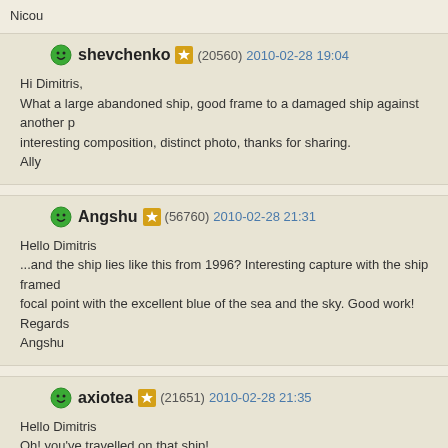Nicou
shevchenko (20560) 2010-02-28 19:04
Hi Dimitris,
What a large abandoned ship, good frame to a damaged ship against another p interesting composition, distinct photo, thanks for sharing.
Ally
Angshu (56760) 2010-02-28 21:31
Hello Dimitris
...and the ship lies like this from 1996? Interesting capture with the ship framed focal point with the excellent blue of the sea and the sky. Good work!
Regards
Angshu
axiotea (21651) 2010-02-28 21:35
Hello Dimitris
Oh! you've travelled on that ship!
I wonder what have happened to it...
A good vantage point giving a wide view on the sea and its surroundings, displa